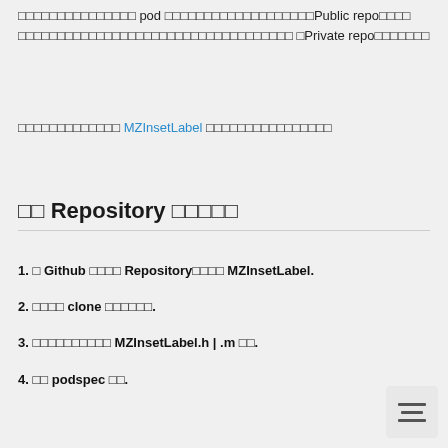□□□□□□□□□□□□□□□ pod □□□□□□□□□□□□□□□□□□□Public repo□□□□ □□□□□□□□□□□□□□□□□□□□□□□□□□□□□□□□□□□Private repo□□□□□□□
□□□□□□□□□□□□□ MZInsetLabel □□□□□□□□□□□□□□□□
□□ Repository □□□□□
1. □ Github □□□□ Repository□□□□ MZInsetLabel.
2. □□□□ clone □□□□□□.
3. □□□□□□□□□□ MZInsetLabel.h | .m □□.
4. □□ podspec □□.